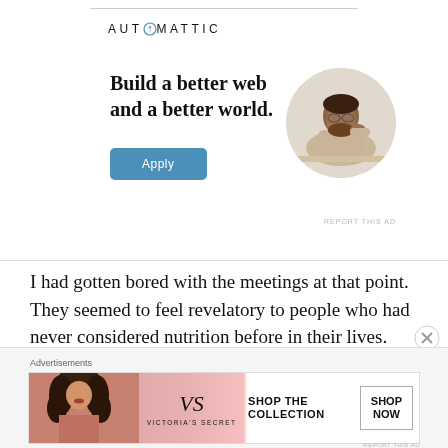[Figure (logo): Automattic logo with compass icon in the letter O]
Build a better web and a better world.
[Figure (photo): Circular cropped photo of a man resting his chin on his hand, looking thoughtful]
REPORT THIS AD
I had gotten bored with the meetings at that point. They seemed to feel revelatory to people who had never considered nutrition before in their lives.
Advertisements
[Figure (other): Victoria's Secret advertisement banner: woman with curly hair, VS logo, SHOP THE COLLECTION text, SHOP NOW button]